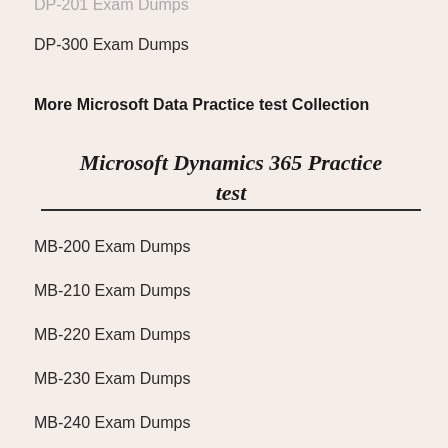DP-300 Exam Dumps
More Microsoft Data Practice test Collection
Microsoft Dynamics 365 Practice test
MB-200 Exam Dumps
MB-210 Exam Dumps
MB-220 Exam Dumps
MB-230 Exam Dumps
MB-240 Exam Dumps